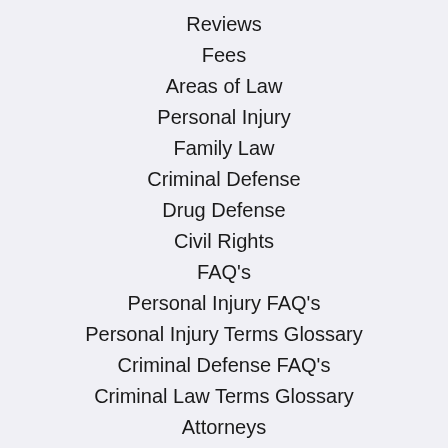Reviews
Fees
Areas of Law
Personal Injury
Family Law
Criminal Defense
Drug Defense
Civil Rights
FAQ's
Personal Injury FAQ's
Personal Injury Terms Glossary
Criminal Defense FAQ's
Criminal Law Terms Glossary
Attorneys
William R. Claiborne